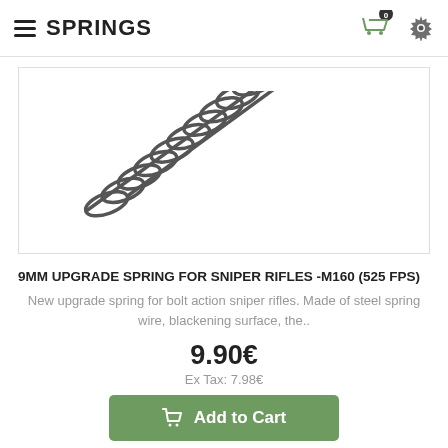SPRINGS
[Figure (photo): A coil spring (upgrade spring for sniper rifles) shown diagonally against a white background inside a bordered product image box.]
9MM UPGRADE SPRING FOR SNIPER RIFLES -M160 (525 FPS)
New upgrade spring for bolt action sniper rifles. Made of steel spring wire, blackening surface, the..
9.90€
Ex Tax: 7.98€